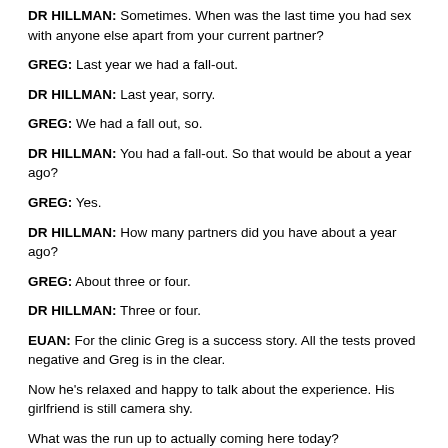DR HILLMAN: Sometimes. When was the last time you had sex with anyone else apart from your current partner?
GREG: Last year we had a fall-out.
DR HILLMAN: Last year, sorry.
GREG: We had a fall out, so.
DR HILLMAN: You had a fall-out. So that would be about a year ago?
GREG: Yes.
DR HILLMAN: How many partners did you have about a year ago?
GREG: About three or four.
DR HILLMAN: Three or four.
EUAN: For the clinic Greg is a success story. All the tests proved negative and Greg is in the clear.
Now he's relaxed and happy to talk about the experience. His girlfriend is still camera shy.
What was the run up to actually coming here today?
GREG: My girlfriend. She basically wanted us to come. Before I was always saying no I didn't want to